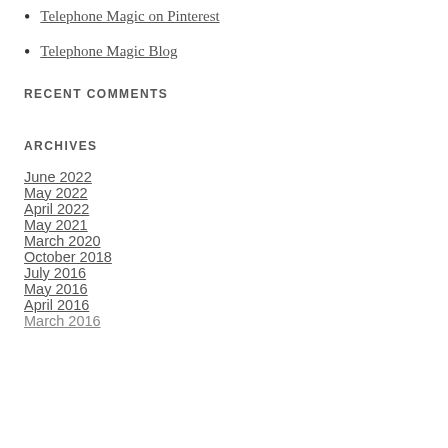Telephone Magic on Pinterest
Telephone Magic Blog
RECENT COMMENTS
ARCHIVES
June 2022
May 2022
April 2022
May 2021
March 2020
October 2018
July 2016
May 2016
April 2016
March 2016